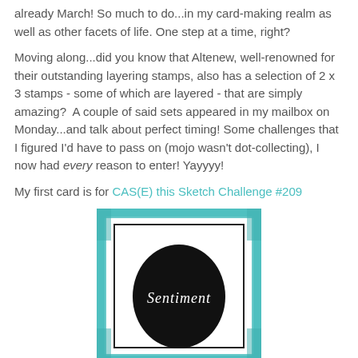already March! So much to do...in my card-making realm as well as other facets of life. One step at a time, right?
Moving along...did you know that Altenew, well-renowned for their outstanding layering stamps, also has a selection of 2 x 3 stamps - some of which are layered - that are simply amazing?  A couple of said sets appeared in my mailbox on Monday...and talk about perfect timing! Some challenges that I figured I'd have to pass on (mojo wasn't dot-collecting), I now had every reason to enter! Yayyyy!
My first card is for CAS(E) this Sketch Challenge #209
[Figure (illustration): A card sketch template showing a teal/turquoise brushed border frame with an inner black border, and a large black oval shape in the center with the word 'Sentiment' written in white handwritten script.]